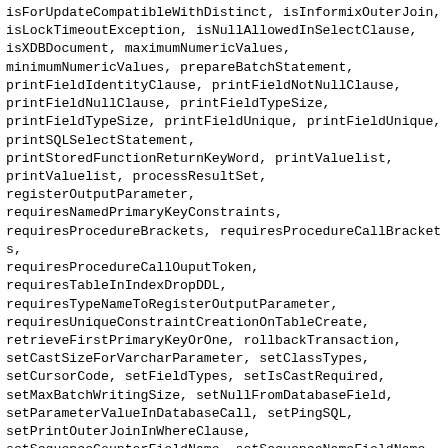isForUpdateCompatibleWithDistinct, isInformixOuterJoin, isLockTimeoutException, isNullAllowedInSelectClause, isXDBDocument, maximumNumericValues, minimumNumericValues, prepareBatchStatement, printFieldIdentityClause, printFieldNotNullClause, printFieldNullClause, printFieldTypeSize, printFieldTypeSize, printFieldUnique, printFieldUnique, printSQLSelectStatement, printStoredFunctionReturnKeyWord, printValuelist, printValuelist, processResultSet, registerOutputParameter, requiresNamedPrimaryKeyConstraints, requiresProcedureBrackets, requiresProcedureCallBrackets, requiresProcedureCallOuputToken, requiresTableInIndexDropDDL, requiresTypeNameToRegisterOutputParameter, requiresUniqueConstraintCreationOnTableCreate, retrieveFirstPrimaryKeyOrOne, rollbackTransaction, setCastSizeForVarcharParameter, setClassTypes, setCursorCode, setFieldTypes, setIsCastRequired, setMaxBatchWritingSize, setNullFromDatabaseField, setParameterValueInDatabaseCall, setPingSQL, setPrintOuterJoinInWhereClause, setSequenceCounterFieldName, setSequenceNameFieldName, setSequenceTableName, setShouldBindAllParameters, setShouldBindLiterals, setShouldCacheAllStatements, setShouldForceFieldNamesToUpperCase, setShouldIgnoreCaseOnFieldComparisons, setShouldOptimizeDataConversion, setShouldTrimStrings, setShouldUseRownumFiltering, setStatementCacheSize,